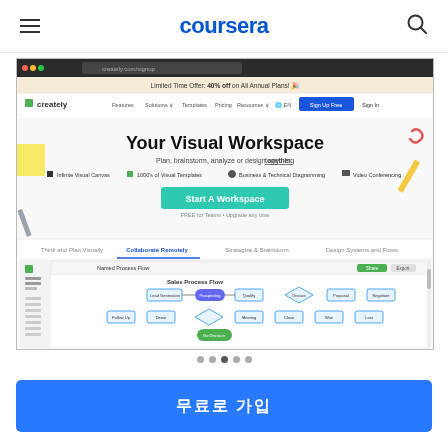coursera
[Figure (screenshot): Screenshot of Creately website showing 'Your Visual Workspace' hero section with navigation bar, tagline 'Plan, brainstorm, analyze or design anything together.', feature list (Infinite Visual Canvas, 1000's of Visual Templates, Business & Technical Diagramming, Video Conferencing), Start A Workspace button, tab navigation (Think and Plan Visually, Collaborate Remotely, Strategize & Brainstorm, Design Systems and Flows), and a Sales Process Flow diagram preview.]
무료로 가입